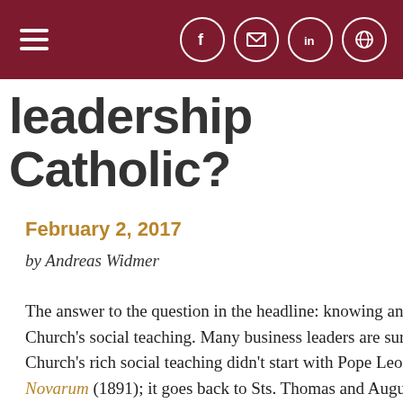leadership Catholic?
February 2, 2017
by Andreas Widmer
The answer to the question in the headline: knowing and Church's social teaching. Many business leaders are surp Church's rich social teaching didn't start with Pope Leo XIII Rerum Novarum (1891); it goes back to Sts. Thomas and August and the apostles. It goes back to the radical charity that J in John 13:35: " is is how all will know that you are my d